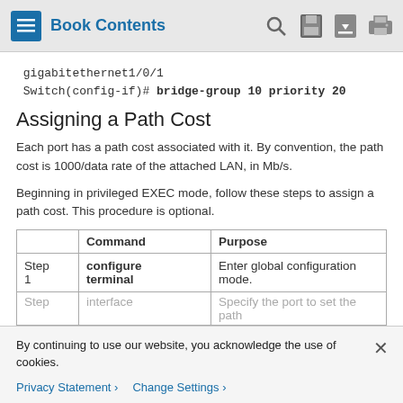Book Contents
gigabitethernet1/0/1
Switch(config-if)# bridge-group 10 priority 20
Assigning a Path Cost
Each port has a path cost associated with it. By convention, the path cost is 1000/data rate of the attached LAN, in Mb/s.
Beginning in privileged EXEC mode, follow these steps to assign a path cost. This procedure is optional.
|  | Command | Purpose |
| --- | --- | --- |
| Step 1 | configure terminal | Enter global configuration mode. |
| Step... | interface... | Specify the port to set the path... |
By continuing to use our website, you acknowledge the use of cookies.
Privacy Statement > Change Settings >